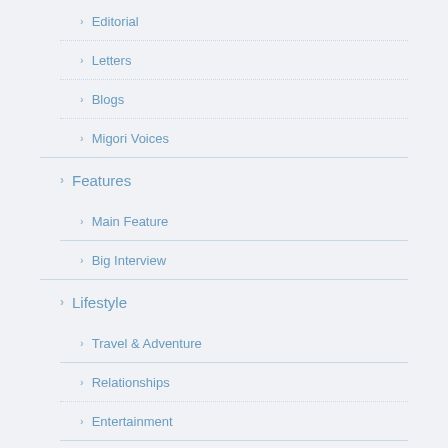Editorial
Letters
Blogs
Migori Voices
Features
Main Feature
Big Interview
Lifestyle
Travel & Adventure
Relationships
Entertainment
County Profile
Business